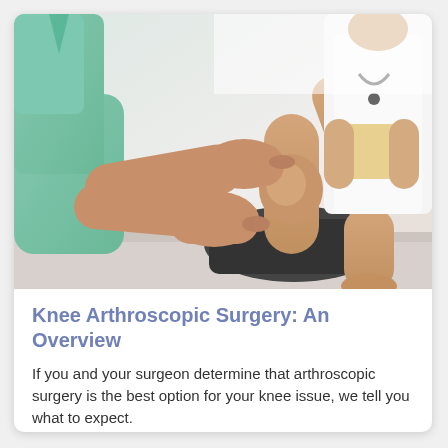[Figure (photo): Medical photo showing a healthcare professional in a green scrub top examining a patient's knee by holding and bending the leg, while another medical professional in a white coat with a stethoscope stands in the background holding a clipboard.]
Knee Arthroscopic Surgery: An Overview
If you and your surgeon determine that arthroscopic surgery is the best option for your knee issue, we tell you what to expect.